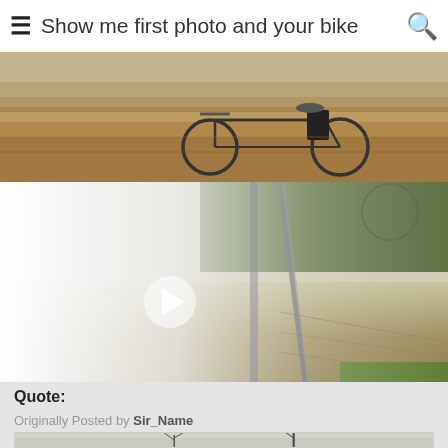Show me first photo and your bike
[Figure (photo): A bicycle resting on dry grass/field in autumn, seen from behind. The bike has a black saddle bag and handlebars visible. Background is dry brown grassland.]
[Figure (photo): A video thumbnail/screenshot of a river or canal view from a bridge or railing, with misty/foggy atmosphere. Green trees line the riverbank. There is a white play button overlay in the left-center area. The water is brownish and calm.]
Quote:
Originally Posted by Sir_Name
[Figure (photo): Partial view of another photo showing a misty landscape with bare trees and a grey/overcast sky, partially visible at the bottom of the page.]